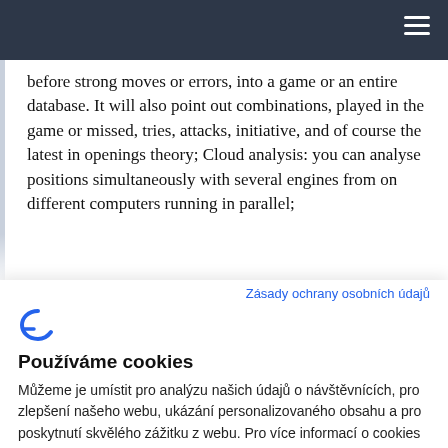before strong moves or errors, into a game or an entire database. It will also point out combinations, played in the game or missed, tries, attacks, initiative, and of course the latest in openings theory; Cloud analysis: you can analyse positions simultaneously with several engines from on different computers running in parallel;
Zásady ochrany osobních údajů
[Figure (logo): Blue stylized letter C/F logo icon]
Používáme cookies
Můžeme je umístit pro analýzu našich údajů o návštěvnících, pro zlepšení našeho webu, ukázání personalizovaného obsahu a pro poskytnutí skvělého zážitku z webu. Pro více informací o cookies používáme otevřené nastavení.
Dobře, pokračuj
Odmítnout
Ne, uprav